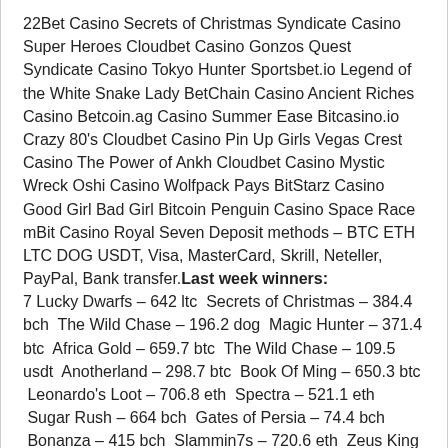22Bet Casino Secrets of Christmas Syndicate Casino Super Heroes Cloudbet Casino Gonzos Quest Syndicate Casino Tokyo Hunter Sportsbet.io Legend of the White Snake Lady BetChain Casino Ancient Riches Casino Betcoin.ag Casino Summer Ease Bitcasino.io Crazy 80's Cloudbet Casino Pin Up Girls Vegas Crest Casino The Power of Ankh Cloudbet Casino Mystic Wreck Oshi Casino Wolfpack Pays BitStarz Casino Good Girl Bad Girl Bitcoin Penguin Casino Space Race mBit Casino Royal Seven Deposit methods – BTC ETH LTC DOG USDT, Visa, MasterCard, Skrill, Neteller, PayPal, Bank transfer.Last week winners:
7 Lucky Dwarfs – 642 ltc  Secrets of Christmas – 384.4 bch  The Wild Chase – 196.2 dog  Magic Hunter – 371.4 btc  Africa Gold – 659.7 btc  The Wild Chase – 109.5 usdt  Anotherland – 298.7 btc  Book Of Ming – 650.3 btc  Leonardo's Loot – 706.8 eth  Spectra – 521.1 eth  Sugar Rush – 664 bch  Gates of Persia – 74.4 bch  Bonanza – 415 bch  Slammin7s – 720.6 eth  Zeus King of Gods – 417.3 dog